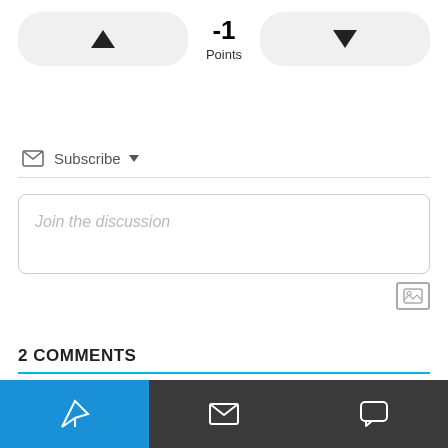[Figure (screenshot): Voting buttons with up arrow, -1 points display, and down arrow]
Subscribe
Join the discussion
[Figure (other): Image upload icon button]
2 COMMENTS
Oldest
[Figure (other): Bottom navigation bar with send, envelope, and chat icons]